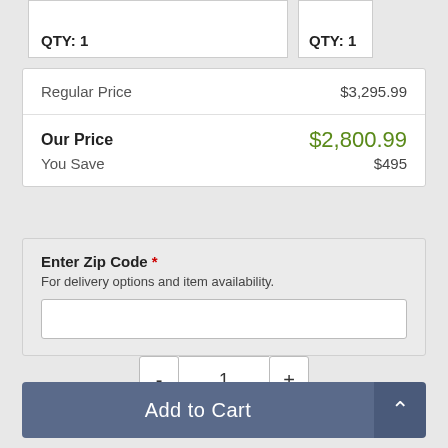QTY: 1
QTY: 1
| Regular Price | $3,295.99 |
| Our Price | $2,800.99 |
| You Save | $495 |
Enter Zip Code *
For delivery options and item availability.
1
Add to Cart